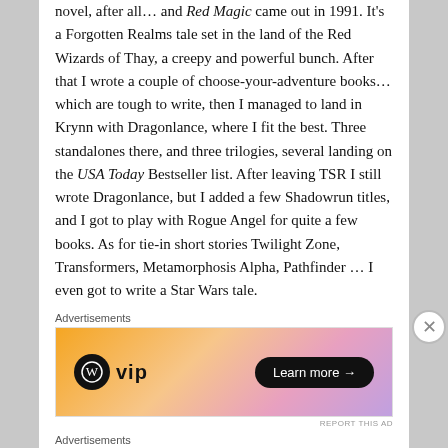novel, after all… and Red Magic came out in 1991. It's a Forgotten Realms tale set in the land of the Red Wizards of Thay, a creepy and powerful bunch. After that I wrote a couple of choose-your-adventure books…which are tough to write, then I managed to land in Krynn with Dragonlance, where I fit the best. Three standalones there, and three trilogies, several landing on the USA Today Bestseller list. After leaving TSR I still wrote Dragonlance, but I added a few Shadowrun titles, and I got to play with Rogue Angel for quite a few books. As for tie-in short stories Twilight Zone, Transformers, Metamorphosis Alpha, Pathfinder … I even got to write a Star Wars tale.
[Figure (screenshot): WordPress VIP advertisement banner with orange/pink gradient background, WordPress logo and 'vip' text on left, 'Learn more' button on right]
[Figure (screenshot): DuckDuckGo advertisement banner with orange background on left saying 'Search, browse, and email with more privacy. All in One Free App' and DuckDuckGo logo on dark background on right]